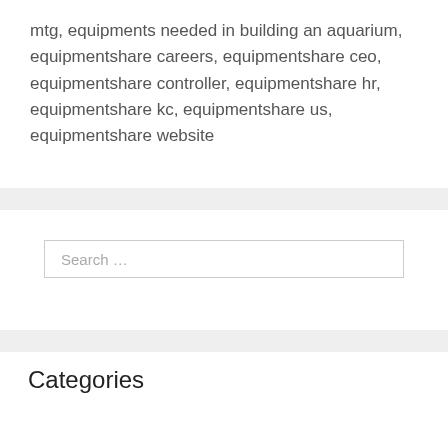mtg, equipments needed in building an aquarium, equipmentshare careers, equipmentshare ceo, equipmentshare controller, equipmentshare hr, equipmentshare kc, equipmentshare us, equipmentshare website
Search ...
Categories